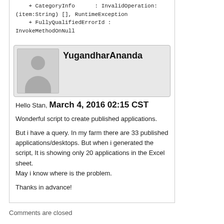+ CategoryInfo : InvalidOperation: (item:String) [], RuntimeException
    + FullyQualifiedErrorId : InvokeMethodOnNull
YugandharAnanda
Hello Stan,  March 4, 2016 02:15 CST
Wonderful script to create published applications.

But i have a query. In my farm there are 33 published applications/desktops. But when i generated the script, It is showing only 20 applications in the Excel sheet.
May i know where is the problem.

Thanks in advance!
Comments are closed